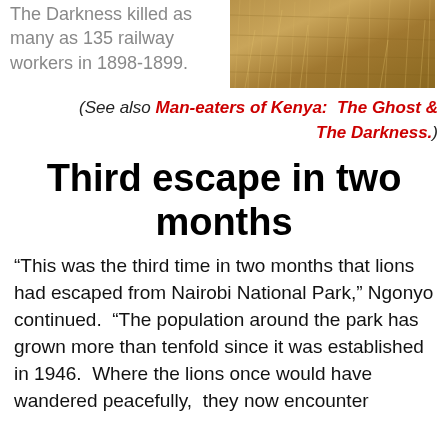The Darkness killed as many as 135 railway workers in 1898-1899.
[Figure (photo): Close-up photo of dry grass or straw, brownish-tan in color]
(See also Man-eaters of Kenya:  The Ghost & The Darkness.)
Third escape in two months
“This was the third time in two months that lions had escaped from Nairobi National Park,” Ngonyo continued.  “The population around the park has grown more than tenfold since it was established in 1946.  Where the lions once would have wandered peacefully, they now encounter